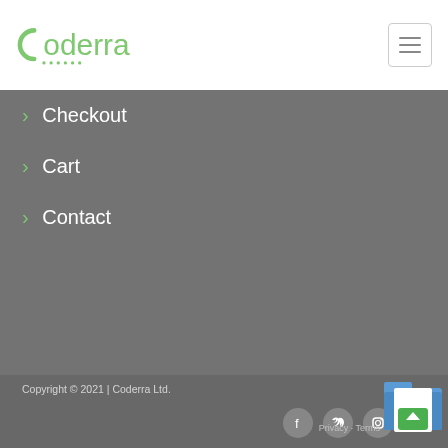Coderra
Checkout
Cart
Contact
Copyright © 2021 | Coderra Ltd.